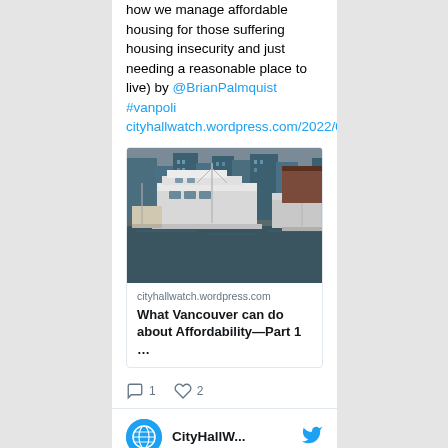how we manage affordable housing for those suffering housing insecurity and just needing a reasonable place to live) by @BrianPalmquist #vanpoli cityhallwatch.wordpress.com/2022/08/19/pal…
[Figure (photo): A marina scene with several large yachts and sailboats docked. City buildings visible in the background.]
cityhallwatch.wordpress.com
What Vancouver can do about Affordability—Part 1 …
1 comment, 2 likes
CityHallW...